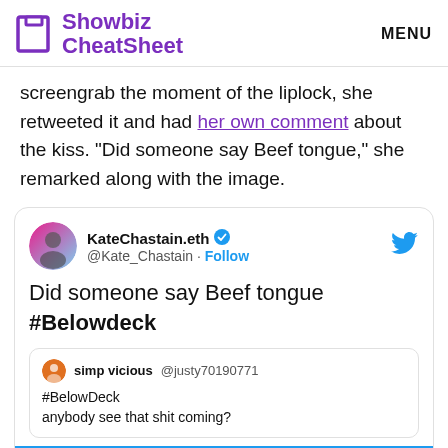Showbiz CheatSheet | MENU
screengrab the moment of the liplock, she retweeted it and had her own comment about the kiss. “Did someone say Beef tongue,” she remarked along with the image.
[Figure (screenshot): Embedded tweet from @Kate_Chastain (KateChastain.eth) saying 'Did someone say Beef tongue #Belowdeck', with a reply from simp vicious @justy70190771 saying '#BelowDeck anybody see that shit coming?']